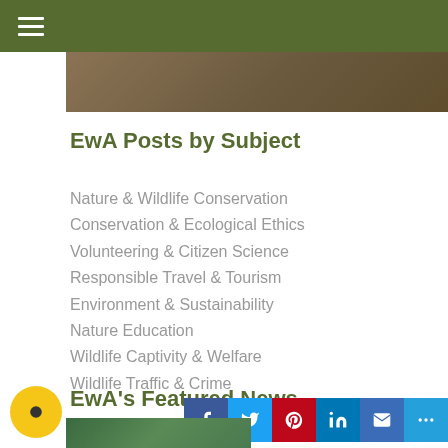Navigation menu header bar with hamburger icon
[Figure (photo): Nature/wildlife photo cropped at top]
EwA Posts by Subject
Nature & Wildlife Conservation
Conservation & Ecological Ethics
Volunteering & Citizen Science
Responsible Travel & Tourism
Environment & Sustainability
Nature Education
Wildlife Captivity & Welfare
Wildlife Traffic & Crime
EwA's Featured News
[Figure (screenshot): Social share bar with Facebook, Twitter, Pinterest, LinkedIn, Email, and More buttons]
[Figure (photo): Small nature photo at bottom left]